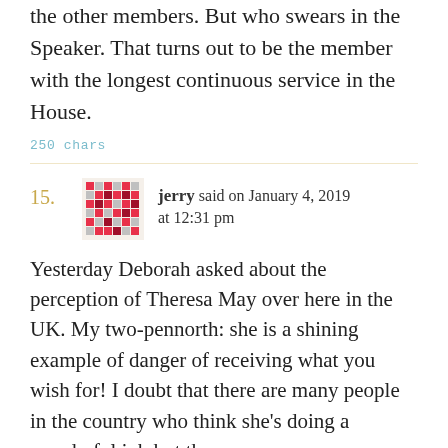the other members. But who swears in the Speaker. That turns out to be the member with the longest continuous service in the House.
250 chars
jerry said on January 4, 2019 at 12:31 pm
Yesterday Deborah asked about the perception of Theresa May over here in the UK. My two-pennorth: she is a shining example of danger of receiving what you wish for! I doubt that there are many people in the country who think she's doing a wonderful job but they